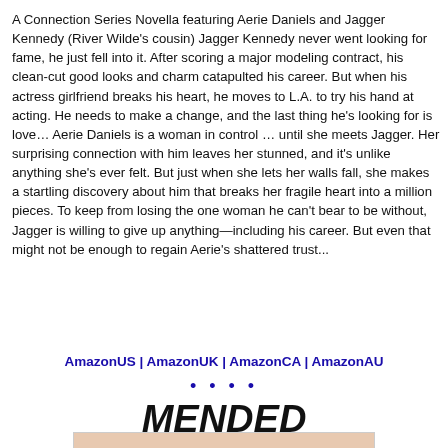A Connection Series Novella featuring Aerie Daniels and Jagger Kennedy (River Wilde's cousin) Jagger Kennedy never went looking for fame, he just fell into it. After scoring a major modeling contract, his clean-cut good looks and charm catapulted his career. But when his actress girlfriend breaks his heart, he moves to L.A. to try his hand at acting. He needs to make a change, and the last thing he's looking for is love… Aerie Daniels is a woman in control … until she meets Jagger. Her surprising connection with him leaves her stunned, and it's unlike anything she's ever felt. But just when she lets her walls fall, she makes a startling discovery about him that breaks her fragile heart into a million pieces. To keep from losing the one woman he can't bear to be without, Jagger is willing to give up anything—including his career. But even that might not be enough to regain Aerie's shattered trust...
AmazonUS | AmazonUK | AmazonCA | AmazonAU
• • • •
MENDED
[Figure (photo): Partial photo strip at bottom of page showing top of a person's head/face]